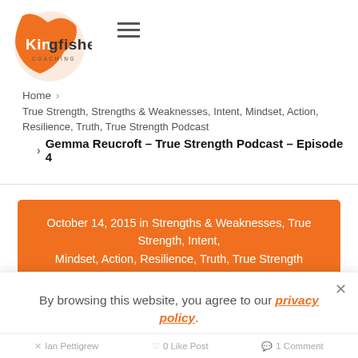[Figure (logo): Kingfisher Coaching logo with orange bird silhouette and hamburger menu icon]
Home > True Strength, Strengths & Weaknesses, Intent, Mindset, Action, Resilience, Truth, True Strength Podcast > Gemma Reucroft – True Strength Podcast – Episode 4
October 14, 2015 in Strengths & Weaknesses, True Strength, Intent, Mindset, Action, Resilience, Truth, True Strength Podcast
By browsing this website, you agree to our privacy policy.
I Agree
Ian Pettigrew   0 Like Post   1 Comment